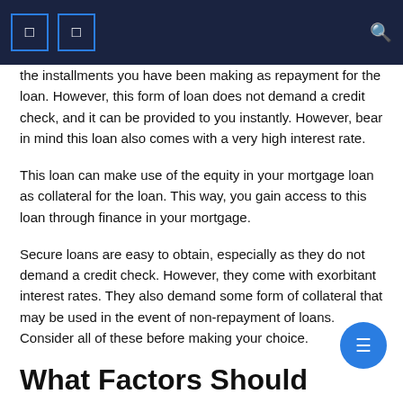the installments you have been making as repayment for the loan. However, this form of loan does not demand a credit check, and it can be provided to you instantly. However, bear in mind this loan also comes with a very high interest rate.
This loan can make use of the equity in your mortgage loan as collateral for the loan. This way, you gain access to this loan through finance in your mortgage.
Secure loans are easy to obtain, especially as they do not demand a credit check. However, they come with exorbitant interest rates. They also demand some form of collateral that may be used in the event of non-repayment of loans. Consider all of these before making your choice.
What Factors Should